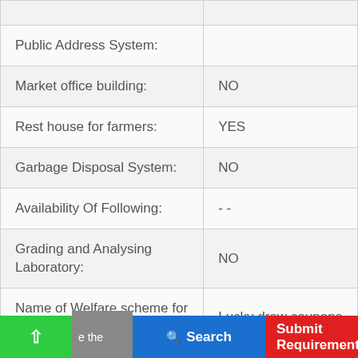| Field | Value |
| --- | --- |
| Public Address System: |  |
| Market office building: | NO |
| Rest house for farmers: | YES |
| Garbage Disposal System: | NO |
| Availability Of Following: | - - |
| Grading and Analysing Laboratory: | NO |
| Name of Welfare scheme for producers: | Lucky draw coupons |